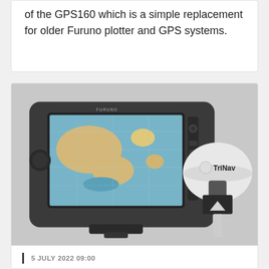of the GPS160 which is a simple replacement for older Furuno plotter and GPS systems.
[Figure (photo): Furuno GPS chart plotter device showing a navigation map on screen, alongside a white dome-shaped TriNav GPS antenna unit]
5 JULY 2022 09:00
Digital Yacht lance le GPS160F